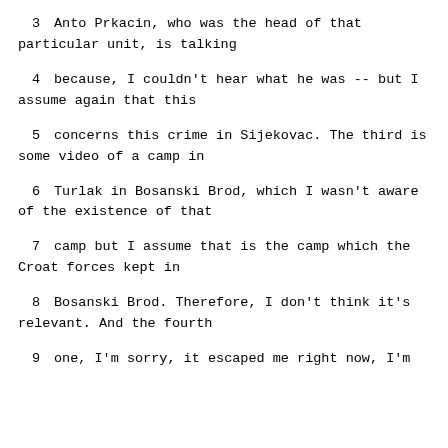3     Anto Prkacin, who was the head of that particular unit, is talking
4     because, I couldn't hear what he was -- but I assume again that this
5     concerns this crime in Sijekovac.  The third is some video of a camp in
6     Turlak in Bosanski Brod, which I wasn't aware of the existence of that
7     camp but I assume that is the camp which the Croat forces kept in
8     Bosanski Brod.  Therefore, I don't think it's relevant.  And the fourth
9     one, I'm sorry, it escaped me right now, I'm